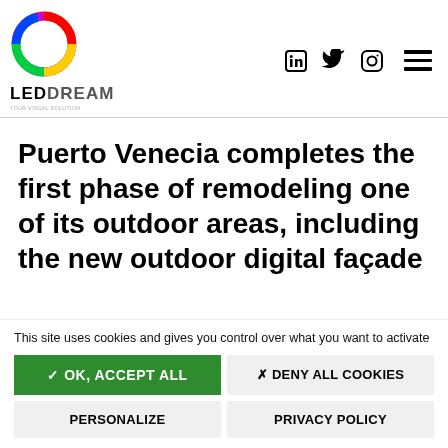[Figure (logo): LED Dream logo: multicolor rainbow circle above text 'LEDDREAM' with tagline]
Puerto Venecia completes the first phase of remodeling one of its outdoor areas, including the new outdoor digital façade
This site uses cookies and gives you control over what you want to activate
✓ OK, ACCEPT ALL
✗ DENY ALL COOKIES
PERSONALIZE
PRIVACY POLICY